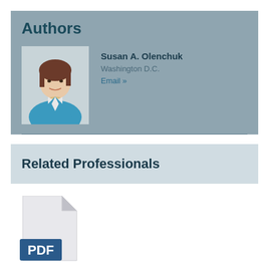Authors
[Figure (photo): Professional headshot of Susan A. Olenchuk, a woman in a blue blazer with brown hair, smiling]
Susan A. Olenchuk
Washington D.C.
Email »
Related Professionals
[Figure (illustration): PDF file icon with grey document shape and blue PDF label badge]